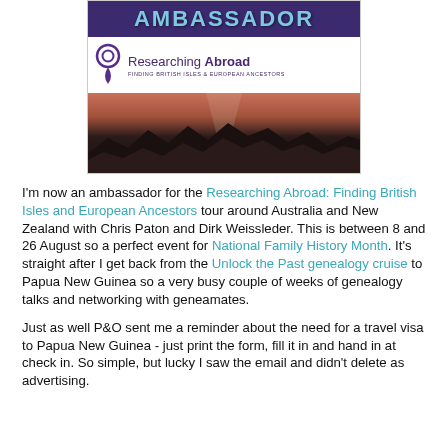[Figure (illustration): Ambassador banner for Researching Abroad: Finding British Isles & European Ancestors. Top purple band with 'AMBASSADOR' in teal letters, logo with map pin icon below, and a landscape photo showing silhouetted mountains against an orange-pink sunset sky.]
I'm now an ambassador for the Researching Abroad: Finding British Isles and European Ancestors tour around Australia and New Zealand with Chris Paton and Dirk Weissleder. This is between 8 and 26 August so a perfect event for National Family History Month. It's straight after I get back from the Unlock the Past genealogy cruise to Papua New Guinea so a very busy couple of weeks of genealogy talks and networking with geneamates.
Just as well P&O sent me a reminder about the need for a travel visa to Papua New Guinea - just print the form, fill it in and hand in at check in. So simple, but lucky I saw the email and didn't delete as advertising.